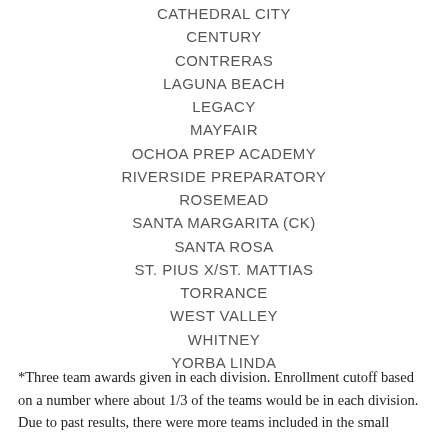CATHEDRAL CITY
CENTURY
CONTRERAS
LAGUNA BEACH
LEGACY
MAYFAIR
OCHOA PREP ACADEMY
RIVERSIDE PREPARATORY
ROSEMEAD
SANTA MARGARITA (CK)
SANTA ROSA
ST. PIUS X/ST. MATTIAS
TORRANCE
WEST VALLEY
WHITNEY
YORBA LINDA
*Three team awards given in each division. Enrollment cutoff based on a number where about 1/3 of the teams would be in each division. Due to past results, there were more teams included in the small